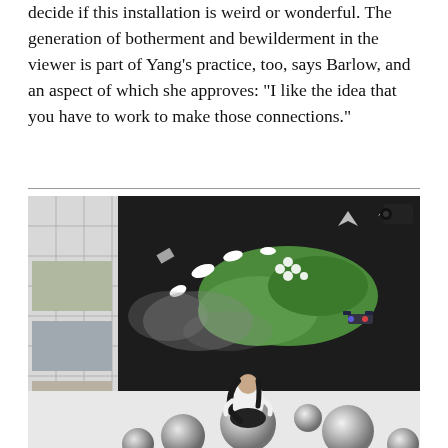decide if this installation is weird or wonderful. The generation of botherment and bewilderment in the viewer is part of Yang’s practice, too, says Barlow, and an aspect of which she approves: “I like the idea that you have to work to make those connections.”
[Figure (photo): A woman with long dark hair wearing a white blouse and black skirt sits on a large metallic silver sphere among several other silver spheres on a white floor. Behind her is a large dark wall mural/installation featuring green organic shapes, white paper-like cutouts of swans and other figures, smoke-like elements, and a surveillance camera. To the left is a white metal grid shelving structure.]